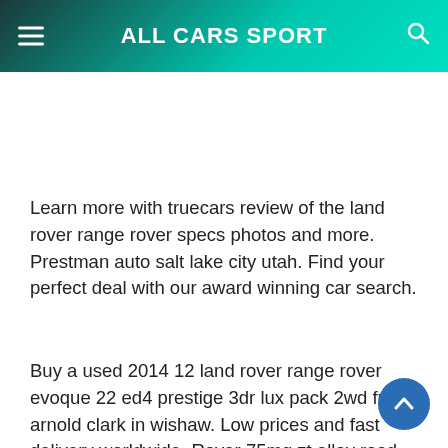ALL CARS SPORT
Learn more with truecars review of the land rover range rover specs photos and more. Prestman auto salt lake city utah. Find your perfect deal with our award winning car search.
Buy a used 2014 12 land rover range rover evoque 22 ed4 prestige 3dr lux pack 2wd from arnold clark in wishaw. Low prices and fast delivery worldwide. Rover 75mg zt alloy road wheel wheel trims 1.